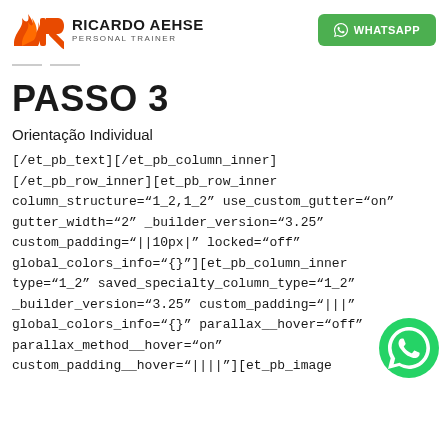RICARDO AEHSE PERSONAL TRAINER | WHATSAPP
PASSO 3
Orientação Individual
[/et_pb_text][/et_pb_column_inner]
[/et_pb_row_inner][et_pb_row_inner
column_structure="1_2,1_2" use_custom_gutter="on"
gutter_width="2" _builder_version="3.25"
custom_padding="||10px|" locked="off"
global_colors_info="{}"][et_pb_column_inner
type="1_2" saved_specialty_column_type="1_2"
_builder_version="3.25" custom_padding="|||"
global_colors_info="{}" parallax__hover="off"
parallax_method__hover="on"
custom_padding__hover="||||"][et_pb_image